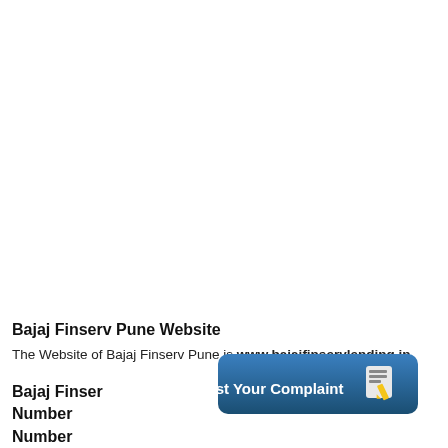Bajaj Finserv Pune Website
The Website of Bajaj Finserv Pune is www.bajajfinservlending.in.
Bajaj Finserv Pune Customer Service Phone Number
[Figure (other): A dark blue rounded rectangle button with text 'Post Your Complaint' and a notepad/pencil icon on the right]